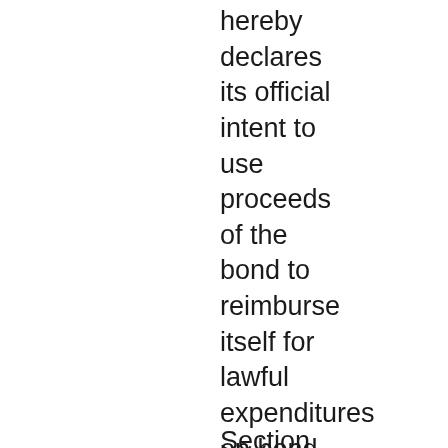hereby declares its official intent to use proceeds of the bond to reimburse itself for lawful expenditures on bond capital projects, up to a maximum principal amount of $250,000.
Section